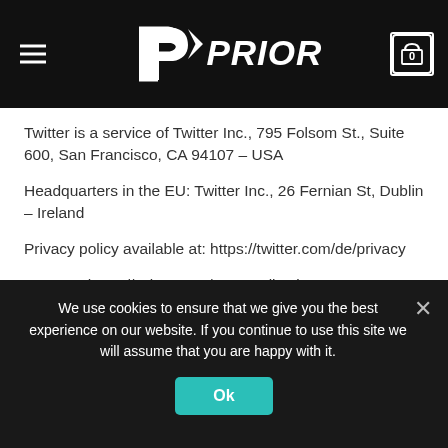PRIOR (logo and navigation header)
Twitter is a service of Twitter Inc., 795 Folsom St., Suite 600, San Francisco, CA 94107 – USA
Headquarters in the EU: Twitter Inc., 26 Fernian St, Dublin – Ireland
Privacy policy available at: https://twitter.com/de/privacy
Opt-Out: https://twitter.com/personalization
Privacy Shield: https://www.privacyshield.gov/participant?
We use cookies to ensure that we give you the best experience on our website. If you continue to use this site we will assume that you are happy with it.